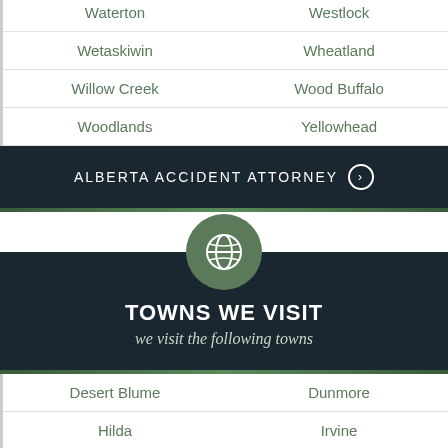| Waterton | Westlock |
| Wetaskiwin | Wheatland |
| Willow Creek | Wood Buffalo |
| Woodlands | Yellowhead |
ALBERTA ACCIDENT ATTORNEY
TOWNS WE VISIT
we visit the following towns
| Desert Blume | Dunmore |
| Hilda | Irvine |
| Redcliff | Schuler |
Call Now